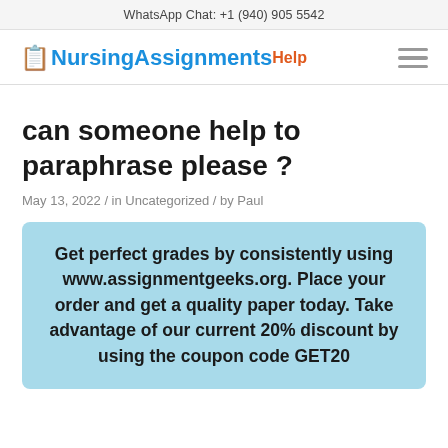WhatsApp Chat: +1 (940) 905 5542
[Figure (logo): NursingAssignmentsHelp logo with blue nursing symbol icon, blue 'NursingAssignments' text, orange 'Help' text, and hamburger menu icon]
can someone help to paraphrase please ?
May 13, 2022 / in Uncategorized / by Paul
Get perfect grades by consistently using www.assignmentgeeks.org. Place your order and get a quality paper today. Take advantage of our current 20% discount by using the coupon code GET20